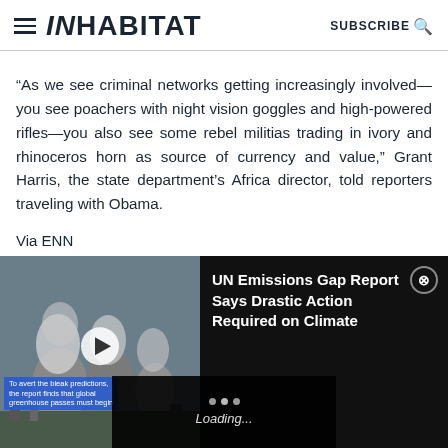INHABITAT — SUBSCRIBE
“As we see criminal networks getting increasingly involved—you see poachers with night vision goggles and high-powered rifles—you also see some rebel militias trading in ivory and rhinoceros horn as source of currency and value,” Grant Harris, the state department’s Africa director, told reporters traveling with Obama.
Via ENN
[Figure (screenshot): Video overlay showing a power plant with cooling towers emitting steam, with a play button. Title reads: UN Emissions Gap Report Says Drastic Action Required on Climate. Loading spinner at bottom.]